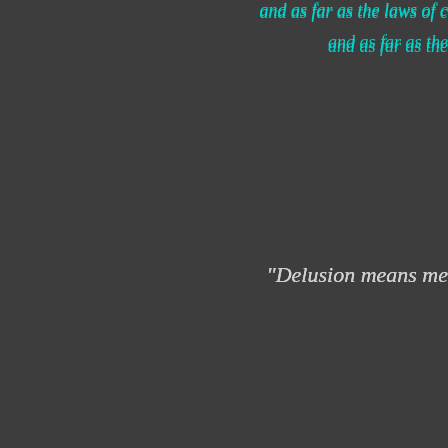and as far as the laws of nature are concerned
and as far as the
"Delusion means me
"A Symphony must b
"All men's souls are
imm
"When our mind work
to 'come' or to 'go', we